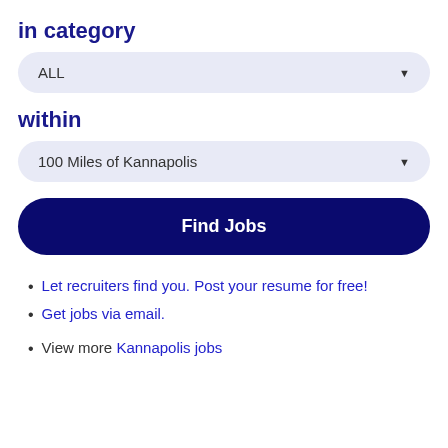in category
ALL
within
100 Miles of Kannapolis
Find Jobs
Let recruiters find you. Post your resume for free!
Get jobs via email.
View more Kannapolis jobs